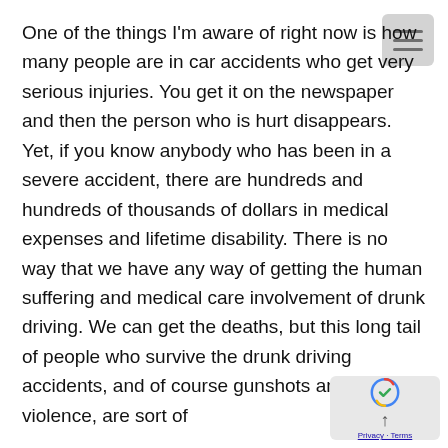One of the things I'm aware of right now is how many people are in car accidents who get very serious injuries. You get it on the newspaper and then the person who is hurt disappears. Yet, if you know anybody who has been in a severe accident, there are hundreds and hundreds of thousands of dollars in medical expenses and lifetime disability. There is no way that we have any way of getting the human suffering and medical care involvement of drunk driving. We can get the deaths, but this long tail of people who survive the drunk driving accidents, and of course gunshots and personal violence, are sort of